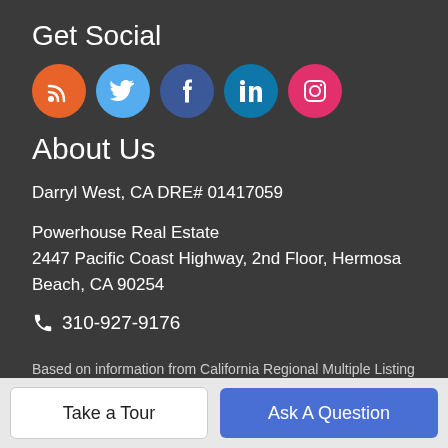Get Social
[Figure (illustration): Five social media icon circles: RSS (orange), Twitter (light blue), Facebook (dark blue), LinkedIn (teal), Instagram (pink)]
About Us
Darryl West, CA DRE# 01417059
Powerhouse Real Estate
2447 Pacific Coast Highway, 2nd Floor, Hermosa Beach, CA 90254
310-927-9176
Based on information from California Regional Multiple Listing Service, Inc. as of 2022-08-19T13:35:30.17. This information is for
Take a Tour
Ask A Question